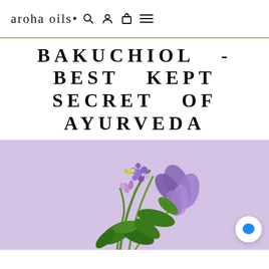aroha OILS
BAKUCHIOL - BEST KEPT SECRET OF AYURVEDA
[Figure (photo): Purple/lavender background with purple flowers and green leaves bouquet arrangement. A white chat bubble icon with a blue speech bubble symbol is in the bottom right corner.]